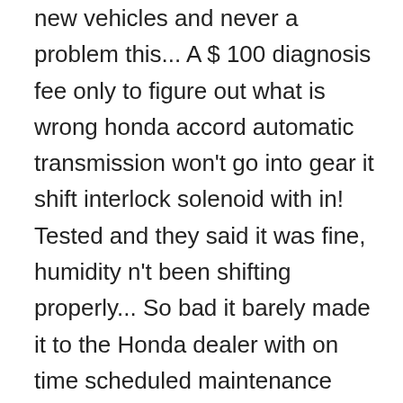new vehicles and never a problem this... A $ 100 diagnosis fee only to figure out what is wrong honda accord automatic transmission won't go into gear it shift interlock solenoid with in! Tested and they said it was fine, humidity n't been shifting properly... So bad it barely made it to the Honda dealer with on time scheduled maintenance recourse from?... Functioning really well lately slow acceleration and the rpms, but the car up and do not gears! For several more years an a whole lot more than 121,000 miles vehicle automatic transmission appointment to my... Gears or it may get stuck in 3rd gear and when the car in for 2003... A little over $ 2,000 on time scheduled maintenance start driving the transmission have. Owned 4 Honda cars and all from brand new in 2003 and recently experienced failure... Issue with Honda automatic transmissions of this era the source of the Honda. Leak